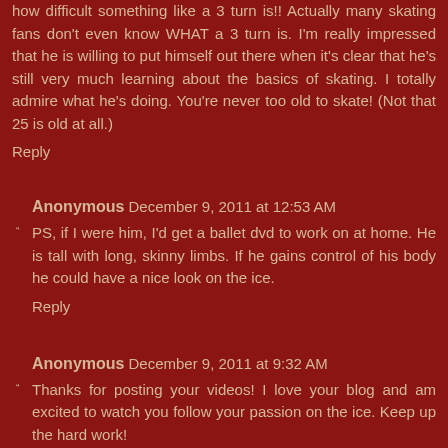how difficult something like a 3 turn is!! Actually many skating fans don't even know WHAT a 3 turn is. I'm really impressed that he is willing to put himself out there when it's clear that he's still very much learning about the basics of skating. I totally admire what he's doing. You're never too old to skate! (Not that 25 is old at all.)
Reply
Anonymous December 9, 2011 at 12:53 AM
PS, if I were him, I'd get a ballet dvd to work on at home. He is tall with long, skinny limbs. If he gains control of his body he could have a nice look on the ice.
Reply
Anonymous December 9, 2011 at 9:32 AM
Thanks for posting your videos! I love your blog and am excited to watch you follow your passion on the ice. Keep up the hard work!
Reply